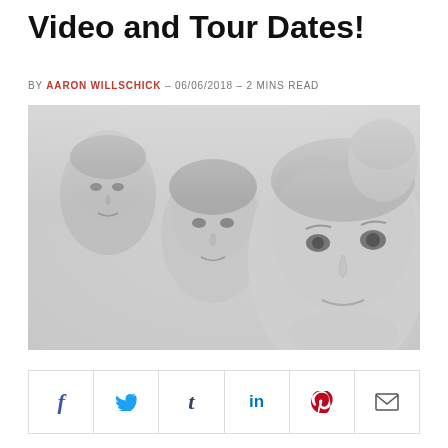Video and Tour Dates!
BY AARON WILLSCHICK - 06/06/2018 - 2 MINS READ
[Figure (photo): Black and white press photo of a band with four members' faces visible against a light grey background]
Share buttons: Facebook, Twitter, Tumblr, LinkedIn, Pinterest, Email